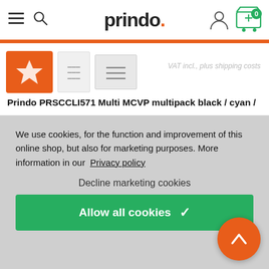[Figure (screenshot): Prindo online shop header with hamburger menu, search icon, Prindo logo, user icon, and green shopping cart with 0 items]
[Figure (photo): Product thumbnail images for Prindo PRSCCLI571 Multi MCVP multipack ink cartridges]
VAT incl., plus shipping costs
Prindo PRSCCLI571 Multi MCVP multipack black / cyan /
We use cookies, for the function and improvement of this online shop, but also for marketing purposes. More information in our  Privacy policy
Decline marketing cookies
Allow all cookies ✓
[Figure (illustration): Orange circular scroll-to-top button with white chevron/arrow pointing up]